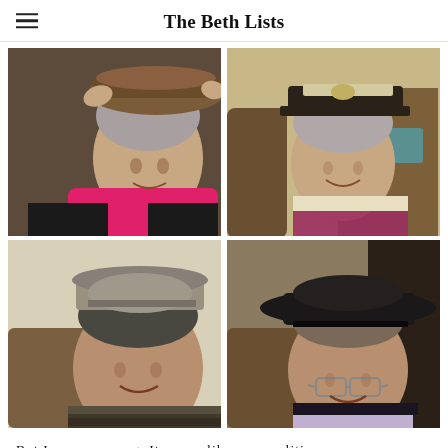The Beth Lists
[Figure (photo): Four elderly women wearing hats, arranged in a 2x2 photo grid. Top-left: woman with gray hair trying on a wide-brimmed brown hat, wearing a pink floral scarf. Top-right: woman wearing a dark captain-style hat with white trim, wearing a pink knitted scarf. Bottom-left: woman wearing a gray fedora hat, dark striped top. Bottom-right: woman wearing a black wide-brimmed hat, wearing glasses, dark blazer with sparkly top.]
But I was so wrong. It seems like personalities